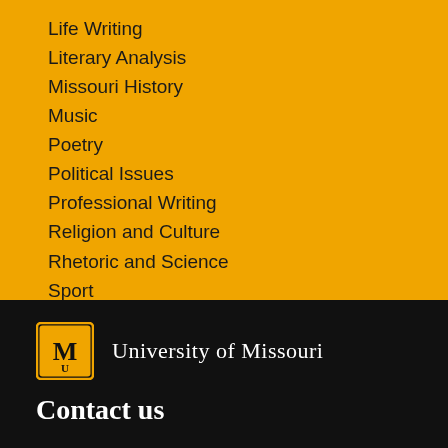Life Writing
Literary Analysis
Missouri History
Music
Poetry
Political Issues
Professional Writing
Religion and Culture
Rhetoric and Science
Sport
Technology
[Figure (logo): University of Missouri logo with MU tiger head and text 'University of Missouri']
Contact us